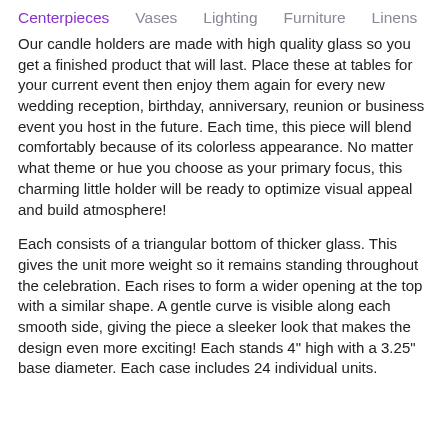Centerpieces   Vases   Lighting   Furniture   Linens
Our candle holders are made with high quality glass so you get a finished product that will last. Place these at tables for your current event then enjoy them again for every new wedding reception, birthday, anniversary, reunion or business event you host in the future. Each time, this piece will blend comfortably because of its colorless appearance. No matter what theme or hue you choose as your primary focus, this charming little holder will be ready to optimize visual appeal and build atmosphere!
Each consists of a triangular bottom of thicker glass. This gives the unit more weight so it remains standing throughout the celebration. Each rises to form a wider opening at the top with a similar shape. A gentle curve is visible along each smooth side, giving the piece a sleeker look that makes the design even more exciting! Each stands 4" high with a 3.25" base diameter. Each case includes 24 individual units.